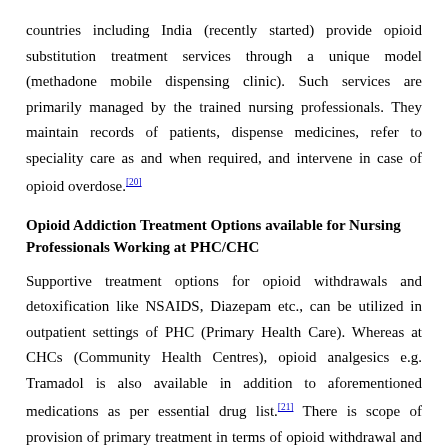countries including India (recently started) provide opioid substitution treatment services through a unique model (methadone mobile dispensing clinic). Such services are primarily managed by the trained nursing professionals. They maintain records of patients, dispense medicines, refer to speciality care as and when required, and intervene in case of opioid overdose.[20]
Opioid Addiction Treatment Options available for Nursing Professionals Working at PHC/CHC
Supportive treatment options for opioid withdrawals and detoxification like NSAIDS, Diazepam etc., can be utilized in outpatient settings of PHC (Primary Health Care). Whereas at CHCs (Community Health Centres), opioid analgesics e.g. Tramadol is also available in addition to aforementioned medications as per essential drug list.[21] There is scope of provision of primary treatment in terms of opioid withdrawal and detoxification in patients with low level of opioid addiction. However, training in management of opioid withdrawal/detoxification and development of treatment protocols for PHC/CHC setting is must for optimum utilization of health care workers including nursing professionals. These services not only improve coverage of essential care but will also full fill the gap